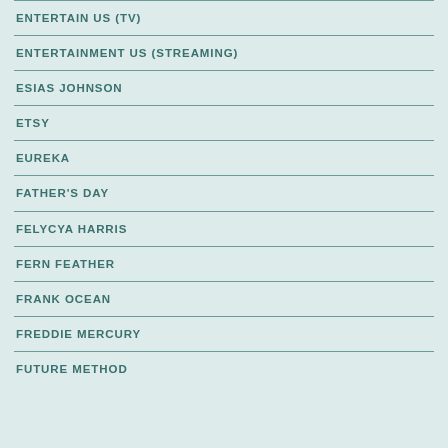ENTERTAIN US (TV)
ENTERTAINMENT US (STREAMING)
ESIAS JOHNSON
ETSY
EUREKA
FATHER'S DAY
FELYCYA HARRIS
FERN FEATHER
FRANK OCEAN
FREDDIE MERCURY
FUTURE METHOD